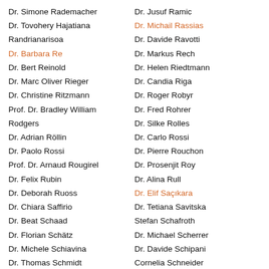Dr. Simone Rademacher
Dr. Tovohery Hajatiana Randrianarisoa
Dr. Barbara Re
Dr. Bert Reinold
Dr. Marc Oliver Rieger
Dr. Christine Ritzmann
Prof. Dr. Bradley William Rodgers
Dr. Adrian Röllin
Dr. Paolo Rossi
Prof. Dr. Arnaud Rougirel
Dr. Felix Rubin
Dr. Deborah Ruoss
Dr. Chiara Saffirio
Dr. Beat Schaad
Dr. Florian Schätz
Dr. Michele Schiavina
Dr. Thomas Schmidt
Dr. Reto Schnyder
Dr. Dominic Schuhmacher
Prof. Dr. Sveva Chiantini
Dr. Jusuf Ramic
Dr. Michail Rassias
Dr. Davide Ravotti
Dr. Markus Rech
Dr. Helen Riedtmann
Dr. Candia Riga
Dr. Roger Robyr
Dr. Fred Rohrer
Dr. Silke Rolles
Dr. Carlo Rossi
Dr. Pierre Rouchon
Dr. Prosenjit Roy
Dr. Alina Rull
Dr. Elif Saçıkara
Dr. Tetiana Savitska
Stefan Schafroth
Dr. Michael Scherrer
Dr. Davide Schipani
Cornelia Schneider
Dr. Severin Schraven
Dr. Frédéric Serier
Dr. Sara Chin